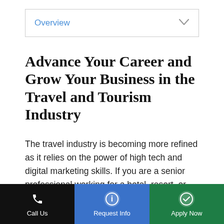[Figure (screenshot): Dropdown/navigation bar with 'Overview' label in blue and a chevron arrow on the right]
Advance Your Career and Grow Your Business in the Travel and Tourism Industry
The travel industry is becoming more refined as it relies on the power of high tech and digital marketing skills. If you are a senior professional working for a hotel, resort, or other public venue, then Liberty University can help you gain the competitive edge to both advance your career and
Call Us | Request Info | Apply Now